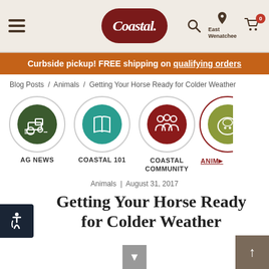[Figure (screenshot): Coastal Farm & Ranch website navigation bar with hamburger menu, Coastal logo oval, search icon, East Wenatchee location, and cart with 0 items]
Curbside pickup! FREE shipping on qualifying orders
Blog Posts / Animals / Getting Your Horse Ready for Colder Weather
[Figure (illustration): Four category icons: AG NEWS (dark green circle with tractor), COASTAL 101 (teal circle with open book), COASTAL COMMUNITY (dark red circle with people), ANIMALS (partial olive circle with cow, underlined)]
Animals | August 31, 2017
Getting Your Horse Ready for Colder Weather